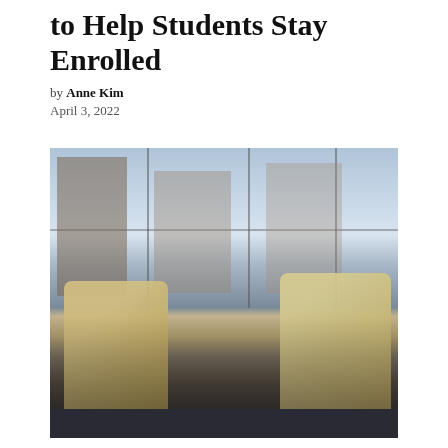to Help Students Stay Enrolled
by Anne Kim
April 3, 2022
[Figure (photo): Two students sitting in large upholstered chairs facing floor-to-ceiling windows, with a campus building visible outside. One student on the left has blonde hair and is working on a laptop; one student on the right is wearing a red top and dark jacket. The room has a blue carpet floor.]